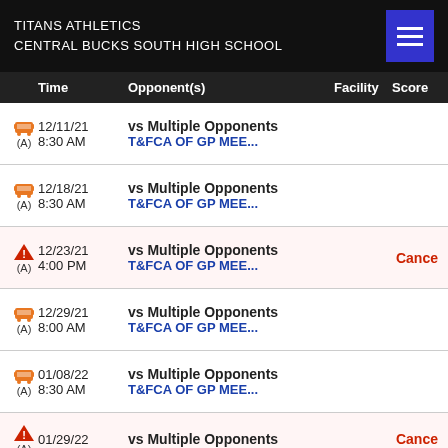TITANS ATHLETICS
CENTRAL BUCKS SOUTH HIGH SCHOOL
|  | Time | Opponent(s) | Facility | Score |
| --- | --- | --- | --- | --- |
| 🚌 (A) | 12/11/21 8:30 AM | vs Multiple Opponents T&FCA OF GP MEE... |  |  |
| 🚌 (A) | 12/18/21 8:30 AM | vs Multiple Opponents T&FCA OF GP MEE... |  |  |
| ⚠ (A) | 12/23/21 4:00 PM | vs Multiple Opponents T&FCA OF GP MEE... |  | Cance |
| 🚌 (A) | 12/29/21 8:00 AM | vs Multiple Opponents T&FCA OF GP MEE... |  |  |
| 🚌 (A) | 01/08/22 8:30 AM | vs Multiple Opponents T&FCA OF GP MEE... |  |  |
| ⚠ (A) | 01/29/22 | vs Multiple Opponents |  | Cance |